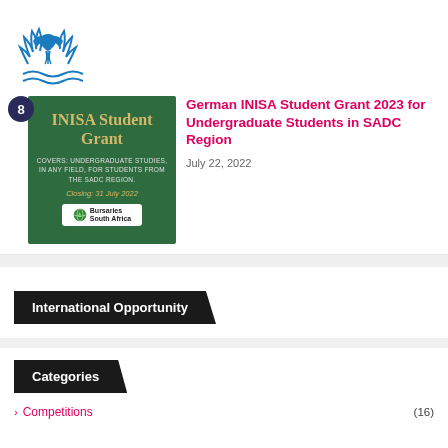[Figure (logo): Blue stylized logo with bird/dove and olive branch design]
[Figure (illustration): Green promotional card for INISA Student Grant, covers undergraduate studies in any field for students from the SADC region, closing 31 July 2022, with Bursaries South Africa badge]
German INISA Student Grant 2023 for Undergraduate Students in SADC Region
July 22, 2022
International Opportunity
Categories
Competitions (16)